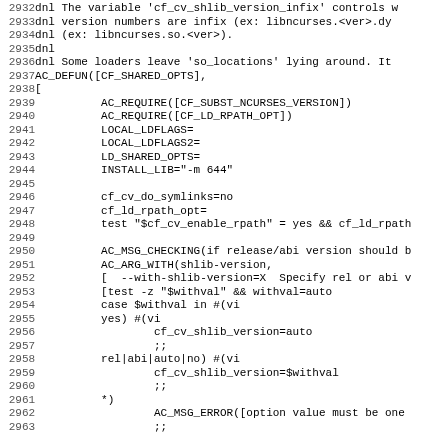[Figure (screenshot): Source code listing showing lines 2932-2963 of an autoconf macro file (CF_SHARED_OPTS), displaying shell script code with line numbers on the left in monospace font on white background.]